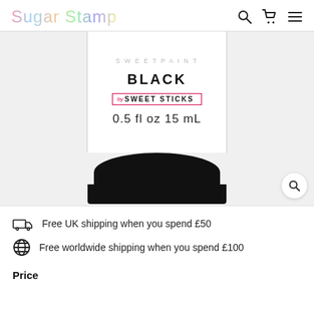Sugar Stamp
[Figure (photo): Close-up of a white bottle with a black cap/bottom. Label reads BLACK by SWEET STICKS 0.5 fl oz 15 mL]
Free UK shipping when you spend £50
Free worldwide shipping when you spend £100
Price